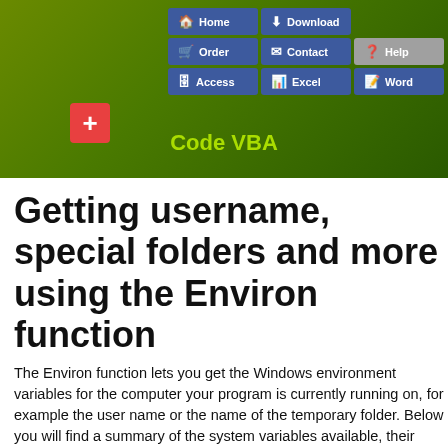[Figure (screenshot): Navigation bar with Home, Download, Order, Contact, Help, Access, Excel, Word buttons on green gradient background with Code VBA branding and a red plus button]
Getting username, special folders and more using the Environ function
The Environ function lets you get the Windows environment variables for the computer your program is currently running on, for example the user name or the name of the temporary folder. Below you will find a summary of the system variables available, their meaning - if not self-evident and an example af what value to expect when calling the Environ function for that variable. The summary is organized in